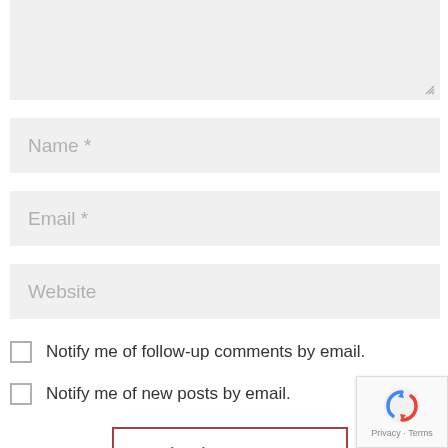[Figure (screenshot): Partially visible comment textarea field with resize handle at bottom right]
Name *
Email *
Website
Notify me of follow-up comments by email.
Notify me of new posts by email.
Submit Comment
[Figure (logo): reCAPTCHA badge with Google reCAPTCHA logo, Privacy and Terms links]